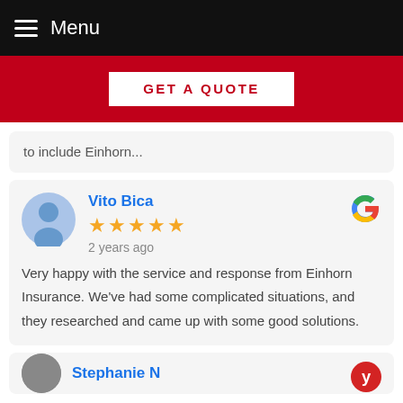Menu
[Figure (other): Red banner with GET A QUOTE button]
to include Einhorn...
Vito Bica
★★★★★
2 years ago
Very happy with the service and response from Einhorn Insurance. We've had some complicated situations, and they researched and came up with some good solutions.
Stephanie N